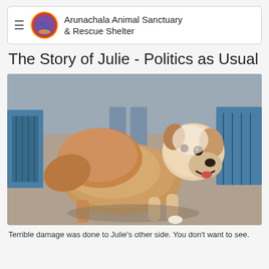Arunachala Animal Sanctuary & Rescue Shelter
The Story of Julie - Politics as Usual
[Figure (photo): A fluffy golden/cream colored dog with a happy expression and open mouth, standing in what appears to be an animal shelter. The dog is facing right and looking back toward the camera. Blue cage/kennel structures and a person's legs are visible in the background.]
Terrible damage was done to Julie's other side. You don't want to see.